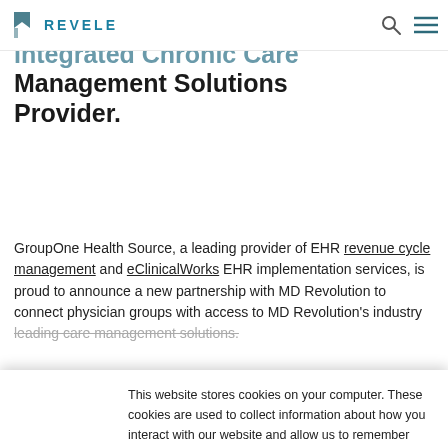REVELE (logo/nav bar)
Connects Physician Groups to Integrated Chronic Care Management Solutions Provider.
GroupOne Health Source, a leading provider of EHR revenue cycle management and eClinicalWorks EHR implementation services, is proud to announce a new partnership with MD Revolution to connect physician groups with access to MD Revolution's industry leading care management solutions.
This website stores cookies on your computer. These cookies are used to collect information about how you interact with our website and allow us to remember you. We use this information in order to improve and customize your browsing experience and for analytics and metrics about our visitors both on this website and other media. To find out more about the cookies we use, please see our Privacy Policy.
Accept